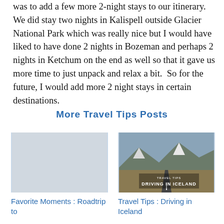was to add a few more 2-night stays to our itinerary.  We did stay two nights in Kalispell outside Glacier National Park which was really nice but I would have liked to have done 2 nights in Bozeman and perhaps 2 nights in Ketchum on the end as well so that it gave us more time to just unpack and relax a bit.  So for the future, I would add more 2 night stays in certain destinations.
More Travel Tips Posts
[Figure (photo): Empty placeholder image for Favorite Moments: Roadtrip to [unknown]]
Favorite Moments : Roadtrip to
[Figure (photo): Photo of a road stretching into mountains with text overlay: TRAVEL TIPS DRIVING IN ICELAND]
Travel Tips : Driving in Iceland